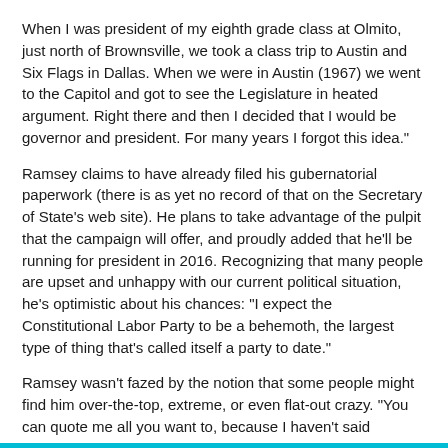When I was president of my eighth grade class at Olmito, just north of Brownsville, we took a class trip to Austin and Six Flags in Dallas. When we were in Austin (1967) we went to the Capitol and got to see the Legislature in heated argument. Right there and then I decided that I would be governor and president. For many years I forgot this idea."
Ramsey claims to have already filed his gubernatorial paperwork (there is as yet no record of that on the Secretary of State's web site). He plans to take advantage of the pulpit that the campaign will offer, and proudly added that he'll be running for president in 2016. Recognizing that many people are upset and unhappy with our current political situation, he's optimistic about his chances: "I expect the Constitutional Labor Party to be a behemoth, the largest type of thing that's called itself a party to date."
Ramsey wasn't fazed by the notion that some people might find him over-the-top, extreme, or even flat-out crazy. "You can quote me all you want to, because I haven't said anything that I feel ashamed to say anywhere." He insisted that his campaign isn't a publicity stunt: "Nothing other than honesty and seriousness about what I'm saying. I am speaking exactly my mind without any kind of hidden agenda."